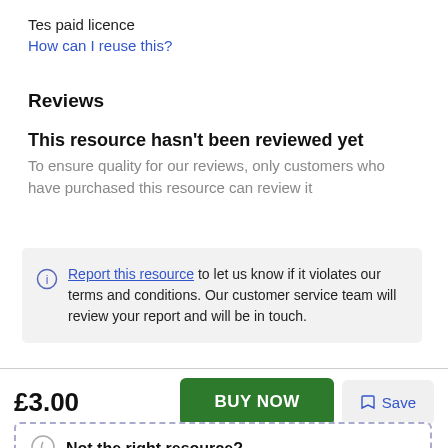Tes paid licence
How can I reuse this?
Reviews
This resource hasn't been reviewed yet
To ensure quality for our reviews, only customers who have purchased this resource can review it
Report this resource to let us know if it violates our terms and conditions. Our customer service team will review your report and will be in touch.
£3.00
BUY NOW
Save
Not the right resource?